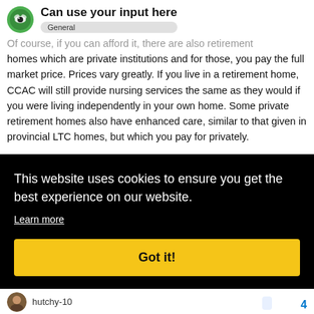Can use your input here — General
Of course, if you can afford it, there are also retirement homes which are private institutions and for those, you pay the full market price. Prices vary greatly. If you live in a retirement home, CCAC will still provide nursing services the same as they would if you were living independently in your own home. Some private retirement homes also have enhanced care, similar to that given in provincial LTC homes, but which you pay for privately.
[Figure (screenshot): Cookie consent banner overlay on website: black background with text 'This website uses cookies to ensure you get the best experience on our website.' with a 'Learn more' link and a yellow 'Got it!' button.]